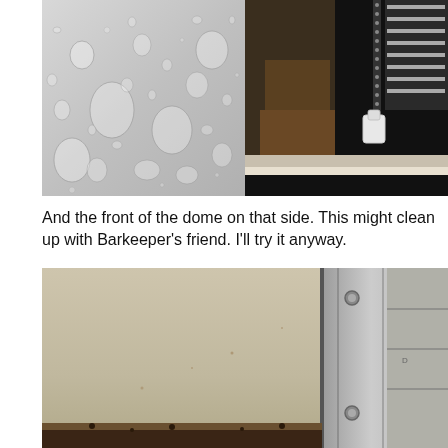[Figure (photo): Two side-by-side photos: left shows a metal surface covered with water droplets; right shows a dark corroded or dirty exterior frame/edge with a white clip or fastener, and a grid structure in the upper right corner.]
And the front of the dome on that side. This might clean up with Barkeeper's friend. I'll try it anyway.
[Figure (photo): Photo showing the exterior of a vehicle or structure with a light beige/tan painted surface on the left and a metal frame with rivets/bolts on the right, with dirt or rust accumulation at the bottom edge.]